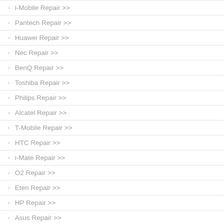i-Mobile Repair >>
Pantech Repair >>
Huawei Repair >>
Nec Repair >>
BenQ Repair >>
Toshiba Repair >>
Philips Repair >>
Alcatel Repair >>
T-Mobile Repair >>
HTC Repair >>
i-Mate Repair >>
O2 Repair >>
Eten Repair >>
HP Repair >>
Asus Repair >>